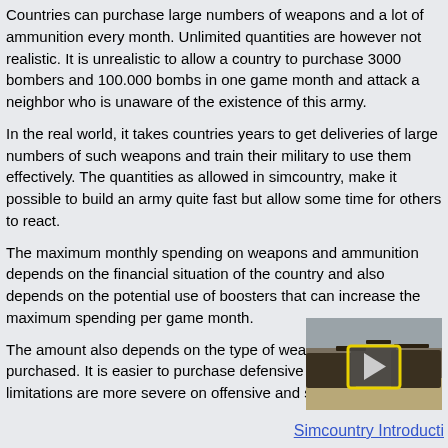Countries can purchase large numbers of weapons and a lot of ammunition every month. Unlimited quantities are however not realistic. It is unrealistic to allow a country to purchase 3000 bombers and 100.000 bombs in one game month and attack a neighbor who is unaware of the existence of this army.
In the real world, it takes countries years to get deliveries of large numbers of such weapons and train their military to use them effectively. The quantities as allowed in simcountry, make it possible to build an army quite fast but allow some time for others to react.
The maximum monthly spending on weapons and ammunition depends on the financial situation of the country and also depends on the potential use of boosters that can increase the maximum spending per game month.
The amount also depends on the type of weapons being purchased. It is easier to purchase defensive weapons while the limitations are more severe on offensive and strategic weapons.
[Figure (photo): Video thumbnail showing military vehicles and equipment in a desert setting, with a yellow-bordered play button in the center.]
Simcountry Introducti